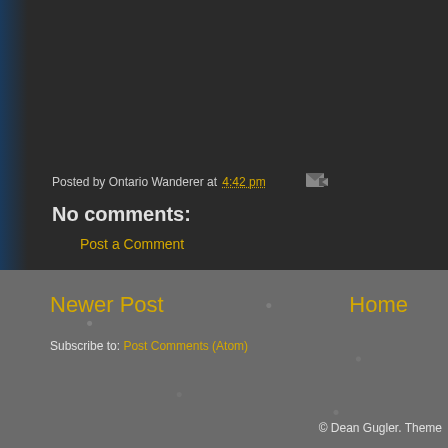Posted by Ontario Wanderer at 4:42 pm
No comments:
Post a Comment
Newer Post
Home
Subscribe to: Post Comments (Atom)
© Dean Gugler. Theme